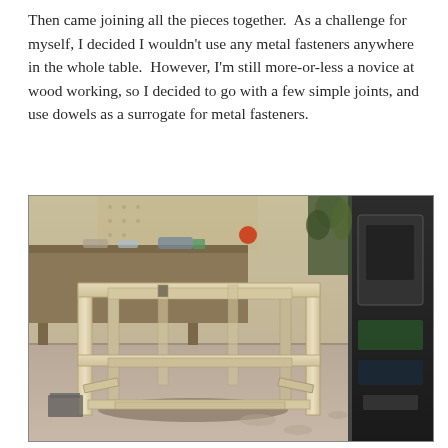Then came joining all the pieces together.  As a challenge for myself, I decided I wouldn't use any metal fasteners anywhere in the whole table.  However, I'm still more-or-less a novice at wood working, so I decided to go with a few simple joints, and use dowels as a surrogate for metal fasteners.
[Figure (photo): A wooden table frame assembled in a workshop. The frame consists of light-colored wood (likely pine or similar) with four legs, horizontal top rails, mid-level cross rails, and bottom stretchers. The workshop background shows workbenches with tools scattered on them, a pegboard, dark equipment on the right side, and a concrete floor.]